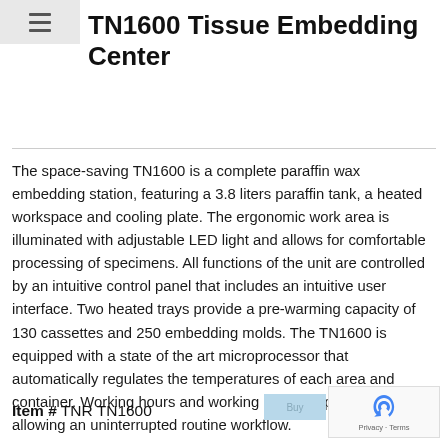≡
TN1600 Tissue Embedding Center
The space-saving TN1600 is a complete paraffin wax embedding station, featuring a 3.8 liters paraffin tank, a heated workspace and cooling plate. The ergonomic work area is illuminated with adjustable LED light and allows for comfortable processing of specimens. All functions of the unit are controlled by an intuitive control panel that includes an intuitive user interface. Two heated trays provide a pre-warming capacity of 130 cassettes and 250 embedding molds. The TN1600 is equipped with a state of the art microprocessor that automatically regulates the temperatures of each area and container. Working hours and working days are programmable allowing an uninterrupted routine workflow.
Item # TNR TN1600